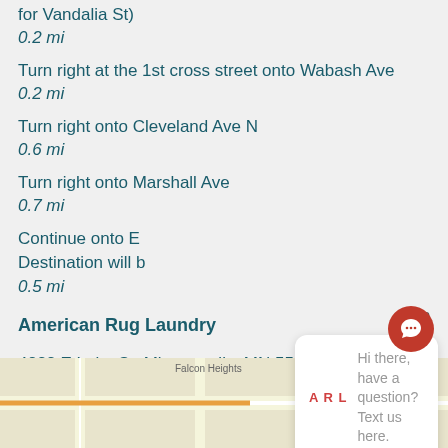for Vandalia St)
0.2 mi
Turn right at the 1st cross street onto Wabash Ave
0.2 mi
Turn right onto Cleveland Ave N
0.6 mi
Turn right onto Marshall Ave
0.7 mi
close
Continue onto E [Lake St]
Destination will b[e on the right]
0.5 mi
American Rug Laundry
4222 E Lake St. Minneapolis, MN 55406
[Figure (screenshot): Chat widget popup with ARL logo and text: Hi there, have a question? Text us here.]
[Figure (map): Map strip at bottom showing Falcon Heights area map]